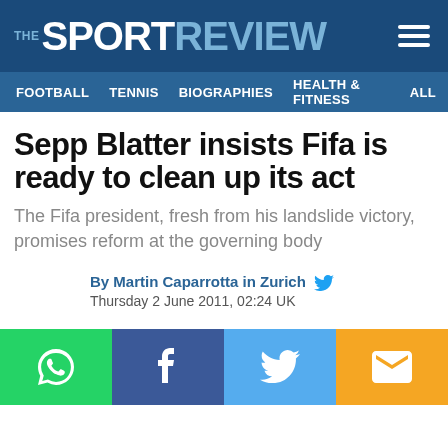THE SPORT REVIEW
FOOTBALL   TENNIS   BIOGRAPHIES   HEALTH & FITNESS   ALL
Sepp Blatter insists Fifa is ready to clean up its act
The Fifa president, fresh from his landslide victory, promises reform at the governing body
By Martin Caparrotta in Zurich
Thursday 2 June 2011, 02:24 UK
[Figure (infographic): Social sharing buttons: WhatsApp (green), Facebook (dark blue), Twitter (light blue), Email (yellow/orange)]